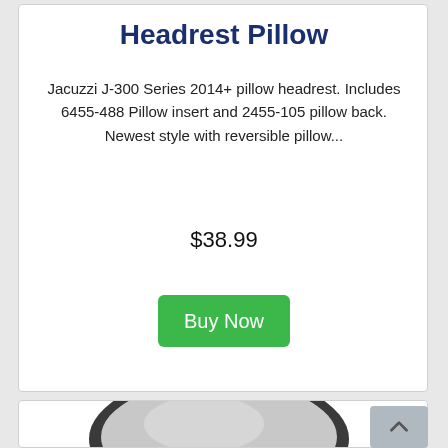Headrest Pillow
Jacuzzi J-300 Series 2014+ pillow headrest. Includes 6455-488 Pillow insert and 2455-105 pillow back. Newest style with reversible pillow...
$38.99
Buy Now
[Figure (photo): Bottom portion of a rounded pillow/headrest, dark gray border with white/gray cushion surface visible from above, partially cropped at bottom of page]